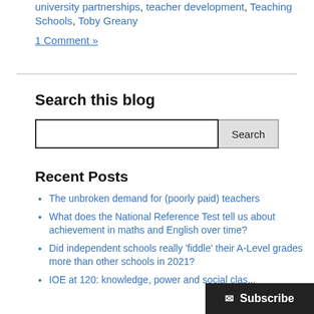university partnerships, teacher development, Teaching Schools, Toby Greany
1 Comment »
Search this blog
Recent Posts
The unbroken demand for (poorly paid) teachers
What does the National Reference Test tell us about achievement in maths and English over time?
Did independent schools really 'fiddle' their A-Level grades more than other schools in 2021?
IOE at 120: knowledge, power and social class – a look at the Sociology of Education, 1972-1982